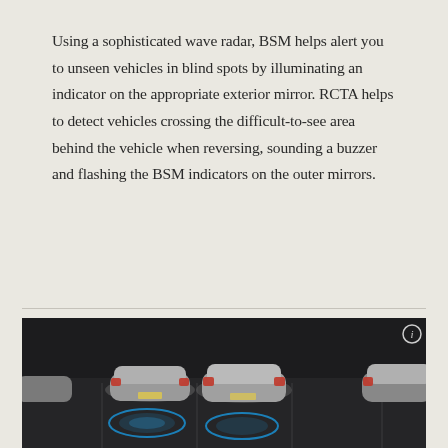Using a sophisticated wave radar, BSM helps alert you to unseen vehicles in blind spots by illuminating an indicator on the appropriate exterior mirror. RCTA helps to detect vehicles crossing the difficult-to-see area behind the vehicle when reversing, sounding a buzzer and flashing the BSM indicators on the outer mirrors.
[Figure (photo): Overhead/rear-angle illustration of multiple silver Lexus vehicles in a parking lot scenario. Blue radar/sensor sweep arcs are shown emanating from the rear corners of the vehicles, demonstrating BSM and RCTA detection zones. Dark background with parking lot markings visible.]